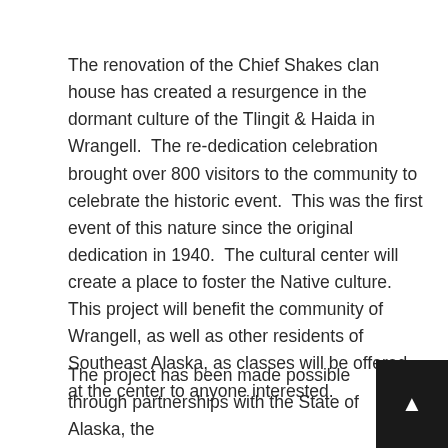The renovation of the Chief Shakes clan house has created a resurgence in the dormant culture of the Tlingit & Haida in Wrangell. The re-dedication celebration brought over 800 visitors to the community to celebrate the historic event. This was the first event of this nature since the original dedication in 1940. The cultural center will create a place to foster the Native culture. This project will benefit the community of Wrangell, as well as other residents of Southeast Alaska, as classes will be offered at the center to anyone interested.
The project has been made possible through partnerships with the State of Alaska, the